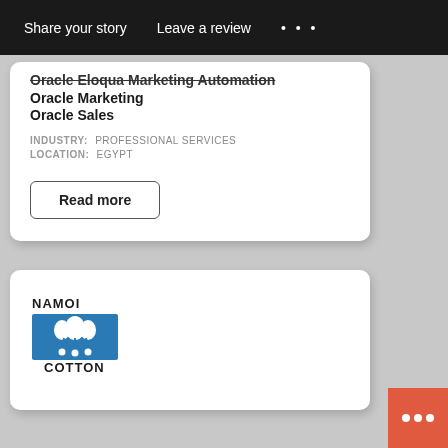Share your story   Leave a review   ...
Oracle Eloqua Marketing Automation
Oracle Marketing
Oracle Sales
INDUSTRY: PROFESSIONAL SERVICES
LOCATION: EGYPT
Read more
[Figure (logo): Namoi Cotton logo — text NAMOI above COTTON with a blue square containing white cotton boll illustration and stylised people figures]
[Figure (other): Chat widget button with three dots on orange-red background]